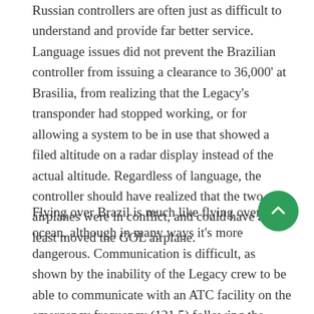Russian controllers are often just as difficult to understand and provide far better service. Language issues did not prevent the Brazilian controller from issuing a clearance to 36,000' at Brasilia, from realizing that the Legacy's transponder had stopped working, or for allowing a system to be in use that showed a filed altitude on a radar display instead of the actual altitude. Regardless of language, the controller should have realized that the two airplanes were in conflict, and could have at least moved the GOL airplane.
Flying over Brazil is much like flying over an ocean, although in many ways it's more dangerous. Communication is difficult, as shown by the inability of the Legacy crew to be able to communicate with an ATC facility on the emergency frequency (121.5) following the